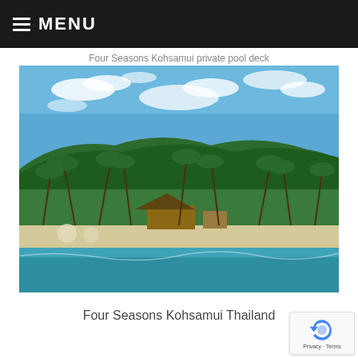MENU
Four Seasons Kohsamui private pool deck
[Figure (photo): Aerial/sea-level view of Four Seasons Kohsamui Thailand resort from the water, showing a lush green tropical hillside with palm trees, a beach with umbrellas and loungers, a thatched-roof structure, turquoise sea in the foreground, and a blue sky with white clouds above.]
Four Seasons Kohsamui Thailand